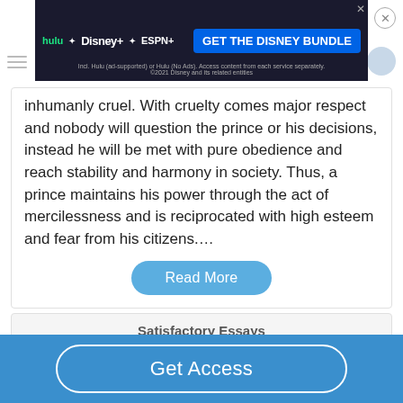[Figure (screenshot): Disney Bundle advertisement banner with Hulu, Disney+, and ESPN+ logos and 'GET THE DISNEY BUNDLE' call to action button]
inhumanly cruel. With cruelty comes major respect and nobody will question the prince or his decisions, instead he will be met with pure obedience and reach stability and harmony in society. Thus, a prince maintains his power through the act of mercilessness and is reciprocated with high esteem and fear from his citizens....
Read More
Satisfactory Essays
Get Access